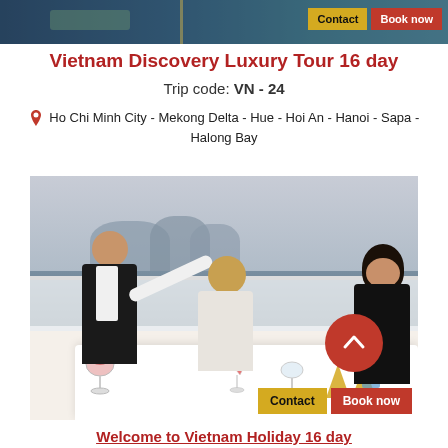[Figure (photo): Top banner photo of a boat/cruise scene with Contact and Book now buttons]
Vietnam Discovery Luxury Tour 16 day
Trip code: VN - 24
Ho Chi Minh City - Mekong Delta - Hue - Hoi An - Hanoi - Sapa - Halong Bay
[Figure (photo): Waiter serving a cocktail to a couple dining on the deck of a cruise ship in Halong Bay, with Contact and Book now buttons overlaid]
Welcome to Vietnam Holiday 16 day